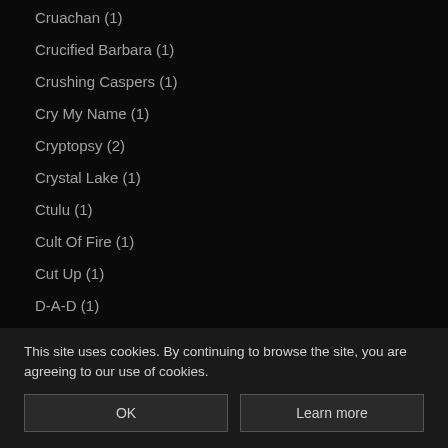Cruachan (1)
Crucified Barbara (1)
Crushing Caspers (1)
Cry My Name (1)
Cryptopsy (2)
Crystal Lake (1)
Ctulu (1)
Cult Of Fire (1)
Cut Up (1)
D-A-D (1)
D.R.I. (1)
Dagoba (1)
Dan Terminus (1)
Danzig (1)
Dark Age (1)
Dark Fortress (1)
This site uses cookies. By continuing to browse the site, you are agreeing to our use of cookies.